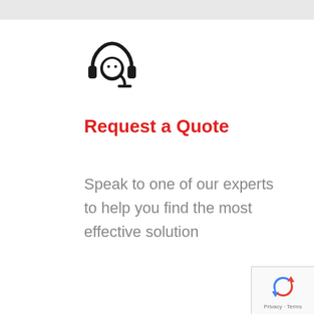[Figure (illustration): Customer support agent icon: a person wearing a headset with microphone, black line art style]
Request a Quote
Speak to one of our experts to help you find the most effective solution
[Figure (logo): Google reCAPTCHA badge with recycling-arrow logo, Privacy and Terms text]